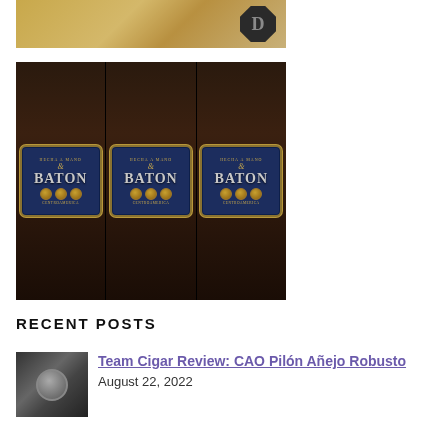[Figure (photo): Partial view of a wooden box with a dark octagonal logo bearing the letter D]
[Figure (photo): Three dark brown cigars with blue and gold BATON bands, arranged side by side]
RECENT POSTS
[Figure (photo): Small thumbnail image of a cigar, likely a CAO Pilón Añejo Robusto]
Team Cigar Review: CAO Pilón Añejo Robusto
August 22, 2022